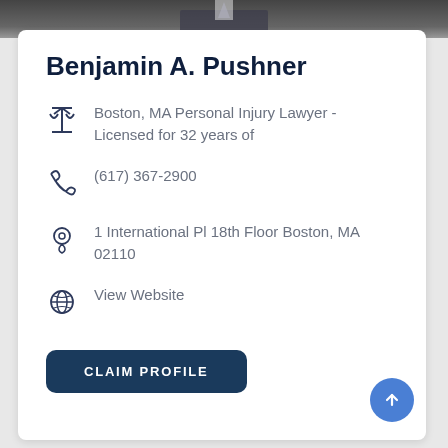[Figure (photo): Partial photo strip at top showing a person in a suit, cropped]
Benjamin A. Pushner
Boston, MA Personal Injury Lawyer - Licensed for 32 years of
(617) 367-2900
1 International Pl 18th Floor Boston, MA 02110
View Website
CLAIM PROFILE